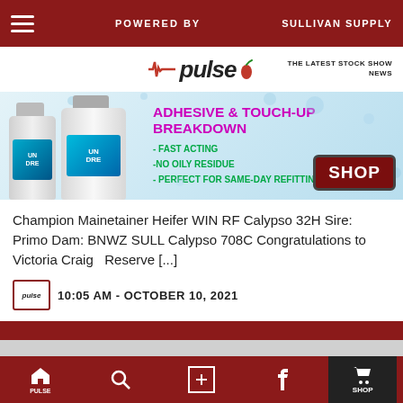POWERED BY | SULLIVAN SUPPLY
[Figure (logo): Pulse logo with heartbeat line and chili pepper, tagline: THE LATEST STOCK SHOW NEWS]
[Figure (infographic): Advertisement for Undrere adhesive and touch-up products. Headline: ADHESIVE & TOUCH-UP BREAKDOWN. Bullets: FAST ACTING, NO OILY RESIDUE, PERFECT FOR SAME-DAY REFITTING. SHOP button.]
Champion Mainetainer Heifer WIN RF Calypso 32H Sire: Primo Dam: BNWZ SULL Calypso 708C Congratulations to Victoria Craig   Reserve [...]
10:05 AM - OCTOBER 10, 2021
KEYSTONE INTERNATIONAL LIVESTOCK EXPO (HARRISBURG, PA) | OPEN MAINETAINER BULLS
Home | Search | Add | Facebook | SHOP